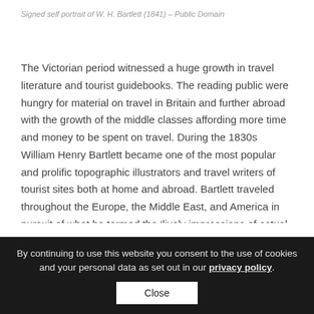Signed self portrait of W. H. Bartlett (1841) – Public Domain
The Victorian period witnessed a huge growth in travel literature and tourist guidebooks. The reading public were hungry for material on travel in Britain and further abroad with the growth of the middle classes affording more time and money to be spent on travel. During the 1830s William Henry Bartlett became one of the most popular and prolific topographic illustrators and travel writers of tourist sites both at home and abroad. Bartlett traveled throughout the Europe, the Middle East, and America in pursuit of what he termed the ‘lively impressions of actual sights’ producing hundreds of engravings of ancient
By continuing to use this website you consent to the use of cookies and your personal data as set out in our privacy policy.
Close